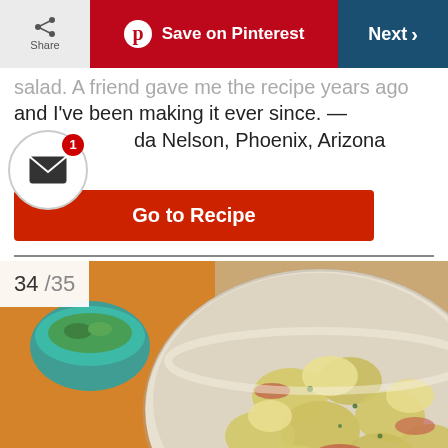Share | Save on Pinterest | Next
salad. A friend gave me the recipe years ago and I've been making it ever since. — Linda Nelson, Phoenix, Arizona
Go to Recipe
34 /35
[Figure (photo): Bowl of potato salad with sliced red potatoes, hard boiled eggs, and herbs, with a small bowl of chopped herbs in the background on an orange surface]